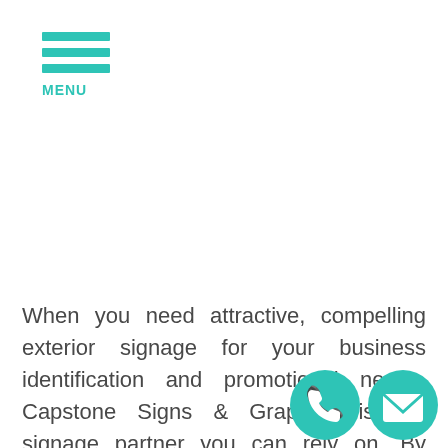MENU
When you need attractive, compelling exterior signage for your business identification and promotional needs, Capstone Signs & Graphics is the signage partner you can rely on. By working closely with our clients, we deliver the custom-made signs tailored to meet their specific needs with the accuracy and impactfulness needed to achieve any signage goal. We look forward to becoming your long-term Lithonia signage provider helping to grow your
[Figure (illustration): Phone call icon - circular teal button with white phone handset symbol]
[Figure (illustration): Email icon - circular teal button with white envelope symbol]